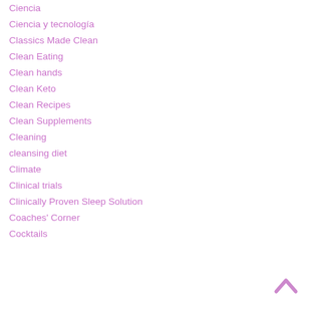Ciencia
Ciencia y tecnología
Classics Made Clean
Clean Eating
Clean hands
Clean Keto
Clean Recipes
Clean Supplements
Cleaning
cleansing diet
Climate
Clinical trials
Clinically Proven Sleep Solution
Coaches' Corner
Cocktails
[Figure (illustration): A pink/purple chevron (up arrow) back-to-top button in the bottom right corner]